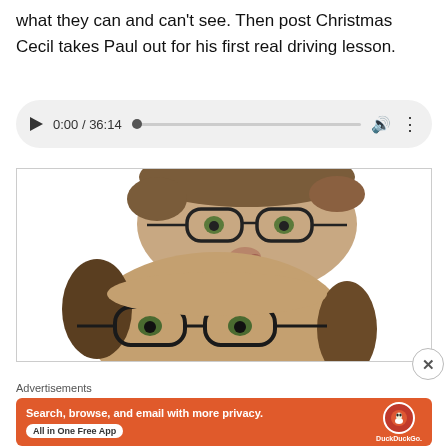what they can and can't see. Then post Christmas Cecil takes Paul out for his first real driving lesson.
[Figure (screenshot): Audio player widget showing 0:00 / 36:14 with play button, progress bar, volume icon, and options menu]
[Figure (photo): Two men with glasses pressing their faces together, one on top of the other, photo inside a bordered box]
Advertisements
[Figure (infographic): DuckDuckGo advertisement banner with orange background. Text reads: Search, browse, and email with more privacy. All in One Free App. DuckDuckGo logo on the right.]